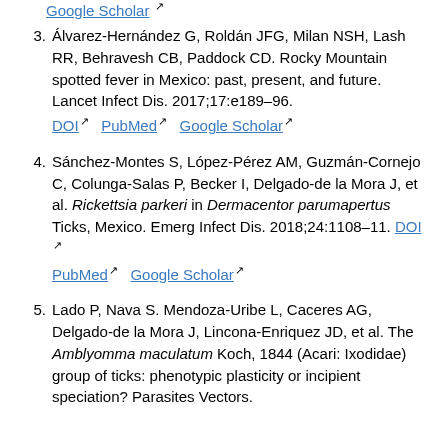Google Scholar [external link] (top, truncated)
3. Álvarez-Hernández G, Roldán JFG, Milan NSH, Lash RR, Behravesh CB, Paddock CD. Rocky Mountain spotted fever in Mexico: past, present, and future. Lancet Infect Dis. 2017;17:e189–96. DOI PubMed Google Scholar
4. Sánchez-Montes S, López-Pérez AM, Guzmán-Cornejo C, Colunga-Salas P, Becker I, Delgado-de la Mora J, et al. Rickettsia parkeri in Dermacentor parumapertus Ticks, Mexico. Emerg Infect Dis. 2018;24:1108–11. DOI PubMed Google Scholar
5. Lado P, Nava S. Mendoza-Uribe L, Caceres AG, Delgado-de la Mora J, Lincona-Enriquez JD, et al. The Amblyomma maculatum Koch, 1844 (Acari: Ixodidae) group of ticks: phenotypic plasticity or incipient speciation? Parasites Vectors.